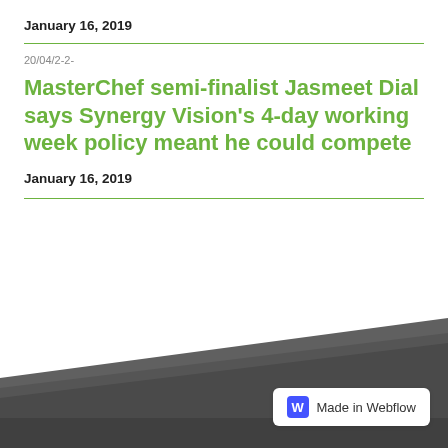January 16, 2019
20/04/2-2-
MasterChef semi-finalist Jasmeet Dial says Synergy Vision's 4-day working week policy meant he could compete
January 16, 2019
[Figure (illustration): Dark grey angled background footer graphic with Webflow badge in bottom right corner]